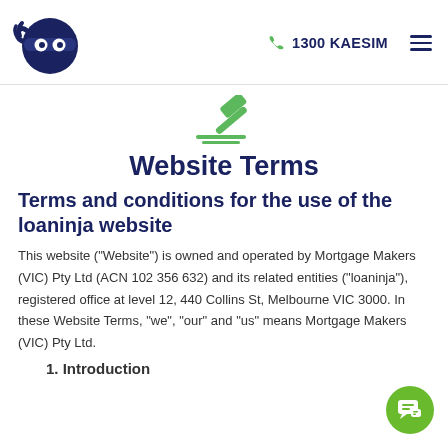1300 KAESIM
Website Terms
Terms and conditions for the use of the loaninja website
This website (“Website”) is owned and operated by Mortgage Makers (VIC) Pty Ltd (ACN 102 356 632) and its related entities (“loaninja”), registered office at level 12, 440 Collins St, Melbourne VIC 3000. In these Website Terms, “we”, “our” and “us” means Mortgage Makers (VIC) Pty Ltd.
1. Introduction